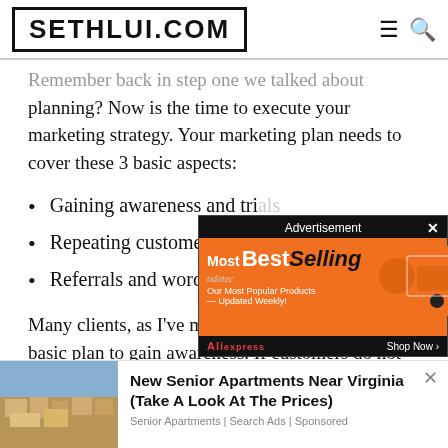[Figure (logo): SETHLUI.COM logo in a bordered box with hamburger and search icons]
Remember back in step one we talked about planning? Now is the time to execute your marketing strategy. Your marketing plan needs to cover these 3 basic aspects:
Gaining awareness and tri...
Repeating customers
Referrals and word of mo...
[Figure (screenshot): Advertisement overlay: Best Selling - Our Most Popular Products - Updated Weekly! Aliexpress Shop Now]
Many clients, as I've mentioned, don't even have a basic plan to gain awareness. If customers do not
[Figure (screenshot): Bottom banner ad: aerial photo of buildings with 'New Senior Apartments Near Virginia (Take A Look At The Prices)' ad]